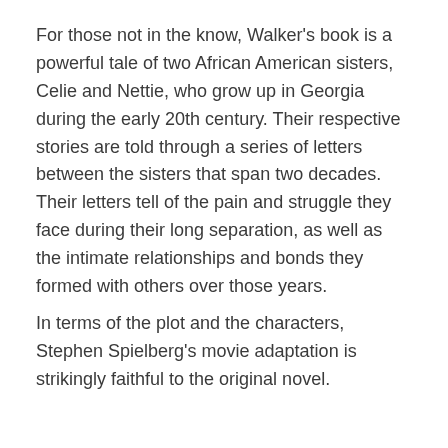For those not in the know, Walker's book is a powerful tale of two African American sisters, Celie and Nettie, who grow up in Georgia during the early 20th century. Their respective stories are told through a series of letters between the sisters that span two decades. Their letters tell of the pain and struggle they face during their long separation, as well as the intimate relationships and bonds they formed with others over those years.
In terms of the plot and the characters, Stephen Spielberg's movie adaptation is strikingly faithful to the original novel.